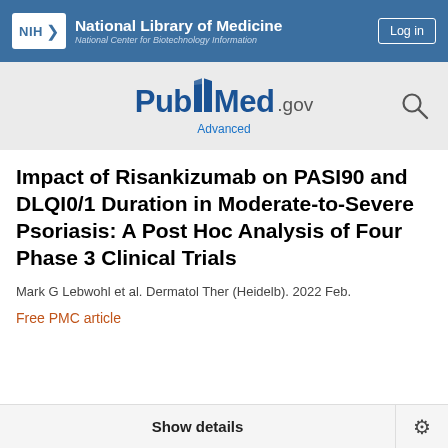NIH National Library of Medicine National Center for Biotechnology Information
[Figure (logo): PubMed.gov logo with search icon and Advanced link]
Impact of Risankizumab on PASI90 and DLQI0/1 Duration in Moderate-to-Severe Psoriasis: A Post Hoc Analysis of Four Phase 3 Clinical Trials
Mark G Lebwohl et al. Dermatol Ther (Heidelb). 2022 Feb.
Free PMC article
Show details